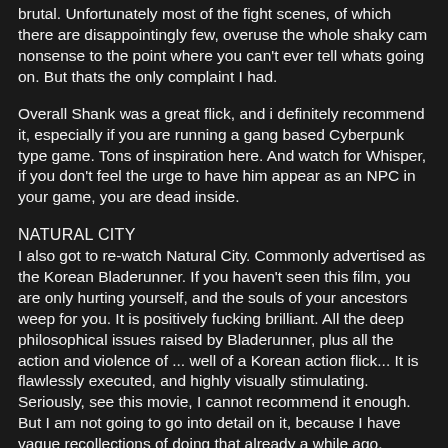brutal.  Unfortunately most of the fight scenes, of which there are disappointingly few, overuse the whole shaky cam nonsense to the point where you can't ever tell whats going on.  But thats the only complaint I had.
Overall Shank was a great flick, and i definitely recommend it, especially if you are running a gang based Cyberpunk type game.  Tons of inspiration here.  And watch for Whisper, if you don't feel the urge to have him appear as an NPC in your game, you are dead inside.
NATURAL CITY
I also got to re-watch Natural City. Commonly advertised as the Korean Bladerunner.  If you haven't seen this film, you are only hurting yourself, and the souls of your ancestors weep for you.  It is positively fucking brilliant.  All the deep philosophical issues raised by Bladerunner, plus all the action and violence of ... well of a Korean action flick...  It is flawlessly executed, and highly visually stimulating.  Seriously, see this movie, I cannot recommend it enough.  But I am not going to go into detail on it, because I have vague recollections of doing that already a while ago.